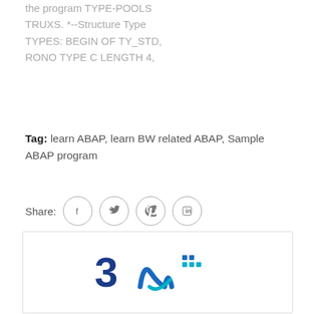the program TYPE-POOLS TRUXS. *--Structure Type TYPES: BEGIN OF TY_STD, RONO TYPE C LENGTH 4,
Tag: learn ABAP, learn BW related ABAP, Sample ABAP program
[Figure (illustration): Social share row with icons for Facebook, Twitter, Pinterest, and LinkedIn]
[Figure (logo): BW logo with stylized 3D lettering in blue and teal colors with pixel dots]